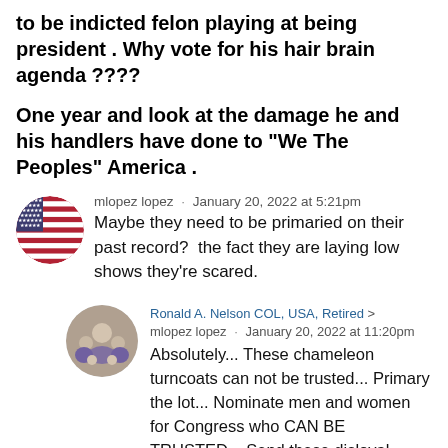to be indicted felon playing at being president . Why vote for his hair brain agenda ????
One year and look at the damage he and his handlers have done to "We The Peoples" America .
mlopez lopez · January 20, 2022 at 5:21pm
Maybe they need to be primaried on their past record?  the fact they are laying low shows they're scared.
Ronald A. Nelson COL, USA, Retired > mlopez lopez · January 20, 2022 at 11:20pm
Absolutely... These chameleon turncoats can not be trusted... Primary the lot... Nominate men and women for Congress who CAN BE TRUSTED... Send these disloyal incumbent masters of